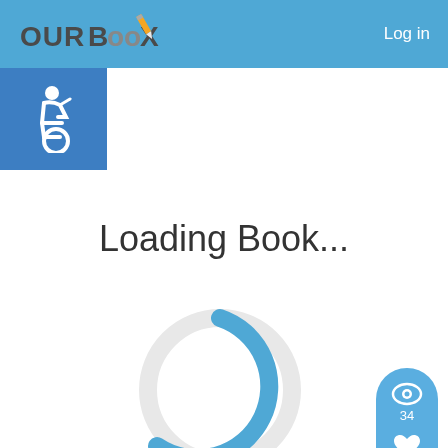OURBooX  Log in
[Figure (logo): OURBooX logo with pencil icon in blue and grey text]
[Figure (illustration): Wheelchair accessibility icon — white figure in wheelchair on blue background]
Loading Book...
[Figure (infographic): Circular loading spinner — light grey ring with blue arc segment indicating loading progress]
[Figure (infographic): Side panel with eye icon (34 views), heart icon (1 like), speech bubble icon (0 comments), and share arrow icon]